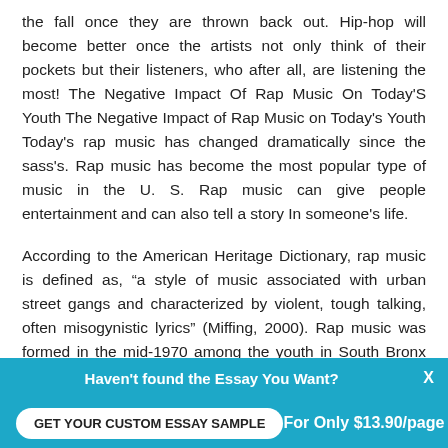the fall once they are thrown back out. Hip-hop will become better once the artists not only think of their pockets but their listeners, who after all, are listening the most! The Negative Impact Of Rap Music On Today'S Youth The Negative Impact of Rap Music on Today's Youth Today's rap music has changed dramatically since the sass's. Rap music has become the most popular type of music in the U. S. Rap music can give people entertainment and can also tell a story In someone's life.
According to the American Heritage Dictionary, rap music is defined as, “a style of music associated with urban street gangs and characterized by violent, tough talking, often misogynistic lyrics” (Miffing, 2000). Rap music was formed in the mid-1970 among the youth in South Bronx and rap artists like, “Africa Bambina, Cool Here, and Grandmaster Flash. Do to the enormous popularity of Run DAM; rap had crossed over on the music charts and audio stations all over the world”
Haven't found the Essay You Want?
GET YOUR CUSTOM ESSAY SAMPLE
For Only $13.90/page